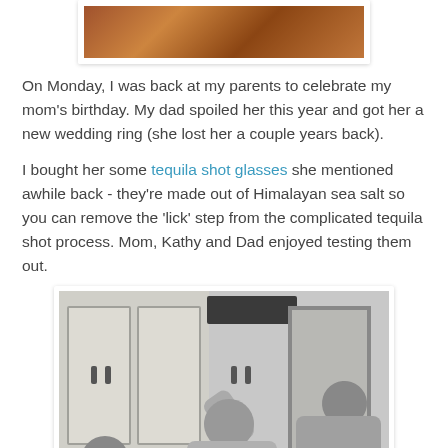[Figure (photo): Cropped top of a photo showing a wooden surface (hardwood floor or table), with white border/frame visible at bottom, on white background.]
On Monday, I was back at my parents to celebrate my mom's birthday. My dad spoiled her this year and got her a new wedding ring (she lost her a couple years back).
I bought her some tequila shot glasses she mentioned awhile back - they're made out of Himalayan sea salt so you can remove the 'lick' step from the complicated tequila shot process. Mom, Kathy and Dad enjoyed testing them out.
[Figure (photo): Black and white photo of three people drinking tequila shots in a kitchen. A woman on the left is crouching and drinking, a woman in the center has her head tilted back drinking, and a person on the right (wearing a Falcons shirt) also has their head tilted back drinking. White kitchen cabinets are visible in the background along with a doorway.]